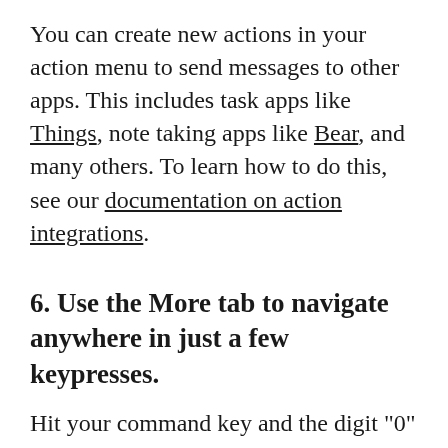You can create new actions in your action menu to send messages to other apps. This includes task apps like Things, note taking apps like Bear, and many others. To learn how to do this, see our documentation on action integrations.
6. Use the More tab to navigate anywhere in just a few keypresses.
Hit your command key and the digit "0" to access the More menu. This will automatically focus a filter input that